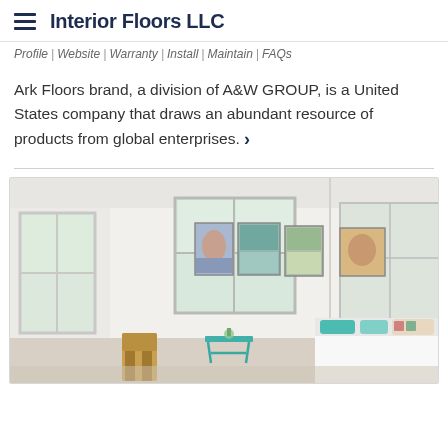Interior Floors LLC
Profile | Website | Warranty | Install | Maintain | FAQs
Ark Floors brand, a division of A&W GROUP, is a United States company that draws an abundant resource of products from global enterprises.
[Figure (photo): Interior room photo showing a bright white bedroom with large windows, colorful framed paintings on the wall, a bed with teal and floral pillows, and a teal side table in the center.]